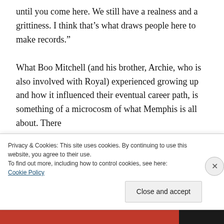until you come here. We still have a realness and a grittiness. I think that’s what draws people here to make records.”
What Boo Mitchell (and his brother, Archie, who is also involved with Royal) experienced growing up and how it influenced their eventual career path, is something of a microcosm of what Memphis is all about. There
Privacy & Cookies: This site uses cookies. By continuing to use this website, you agree to their use.
To find out more, including how to control cookies, see here:
Cookie Policy